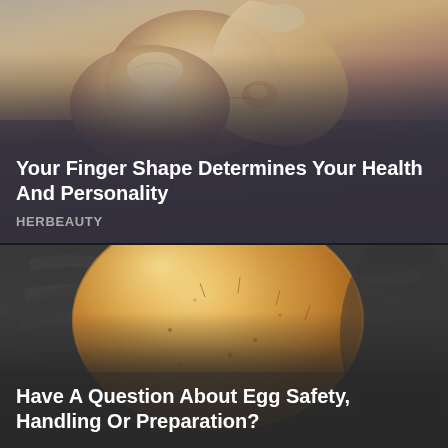[Figure (photo): Close-up photo of a hand holding a small object (possibly a seed or bead) between the thumb and index finger, with skin texture visible]
Your Finger Shape Determines Your Health And Personality
HERBEAUTY
[Figure (photo): A shelled egg (egg without shell membrane) resting on a dark gloved hand, the egg appears orange-amber and translucent with no shell]
Have A Question About Egg Safety, Handling Or Preparation?